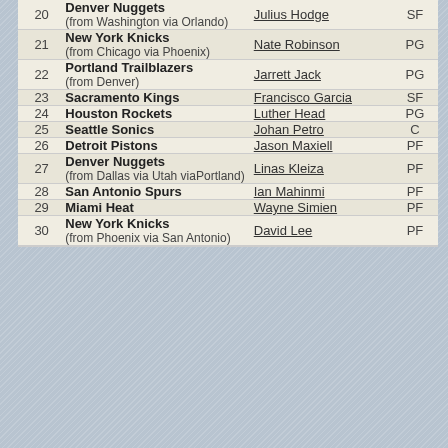| # | Team | Player | Pos |
| --- | --- | --- | --- |
| 20 | Denver Nuggets (from Washington via Orlando) | Julius Hodge | SF |
| 21 | New York Knicks (from Chicago via Phoenix) | Nate Robinson | PG |
| 22 | Portland Trailblazers (from Denver) | Jarrett Jack | PG |
| 23 | Sacramento Kings | Francisco Garcia | SF |
| 24 | Houston Rockets | Luther Head | PG |
| 25 | Seattle Sonics | Johan Petro | C |
| 26 | Detroit Pistons | Jason Maxiell | PF |
| 27 | Denver Nuggets (from Dallas via Utah viaPortland) | Linas Kleiza | PF |
| 28 | San Antonio Spurs | Ian Mahinmi | PF |
| 29 | Miami Heat | Wayne Simien | PF |
| 30 | New York Knicks (from Phoenix via San Antonio) | David Lee | PF |